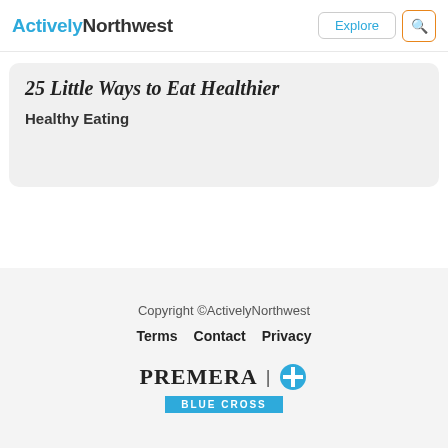ActivelyNorthwest | Explore
25 Little Ways to Eat Healthier
Healthy Eating
Copyright ©ActivelyNorthwest
Terms  Contact  Privacy
PREMERA | BLUE CROSS